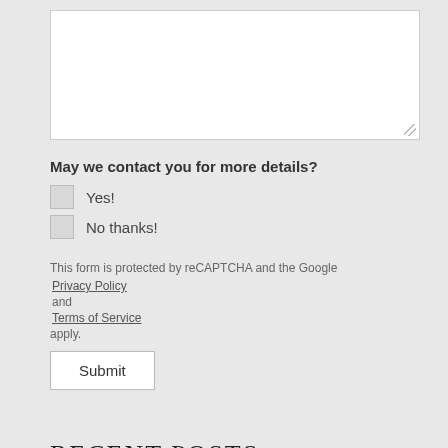[Textarea input field]
May we contact you for more details?
Yes!
No thanks!
This form is protected by reCAPTCHA and the Google Privacy Policy and Terms of Service apply.
Submit
RECENT POSTS
Open Position: WVSU Academic Lab Manager
Open Position: Chemistry Stockroom Coordinator